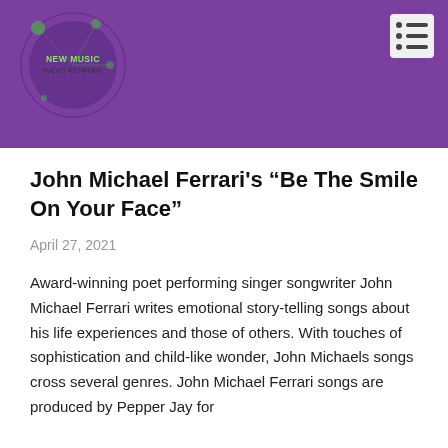[Figure (logo): New Music Radio Network logo — circular design with green and purple colors, text 'NEW MUSIC RADIO NETWORK' in the center, set on a purple banner header]
John Michael Ferrari's “Be The Smile On Your Face”
April 27, 2021
Award-winning poet performing singer songwriter John Michael Ferrari writes emotional story-telling songs about his life experiences and those of others. With touches of sophistication and child-like wonder, John Michaels songs cross several genres. John Michael Ferrari songs are produced by Pepper Jay for